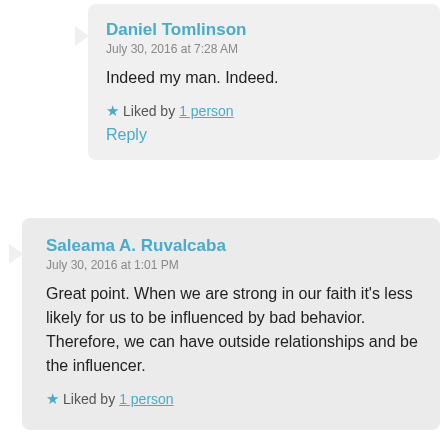Daniel Tomlinson
July 30, 2016 at 7:28 AM

Indeed my man. Indeed.

★ Liked by 1 person

Reply
Saleama A. Ruvalcaba
July 30, 2016 at 1:01 PM

Great point. When we are strong in our faith it's less likely for us to be influenced by bad behavior. Therefore, we can have outside relationships and be the influencer.

★ Liked by 1 person